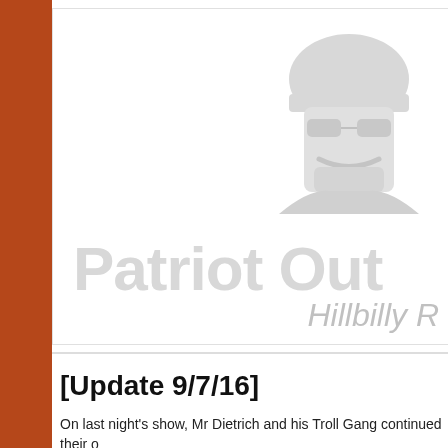[Figure (logo): Patriot Outpost logo with soldier silhouette wearing helmet and sunglasses, large light gray text 'Patriot Out' and subtitle 'Hillbilly R']
[Update 9/7/16]
On last night's show, Mr Dietrich and his Troll Gang continued their o... "faggot", "terrorist", "Satanist", "Cthulhoid", and all manner of other ha... understand that H.P. Lovecraft was a fiction writer; Cthulhu is not re...